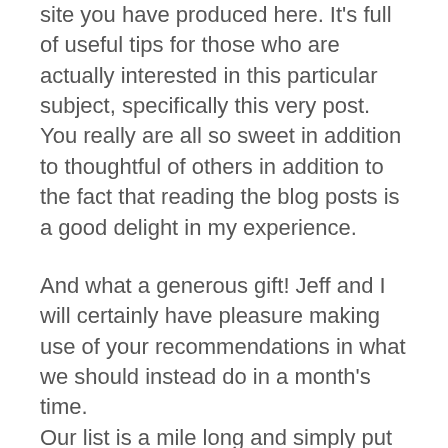site you have produced here. It's full of useful tips for those who are actually interested in this particular subject, specifically this very post. You really are all so sweet in addition to thoughtful of others in addition to the fact that reading the blog posts is a good delight in my experience.
And what a generous gift! Jeff and I will certainly have pleasure making use of your recommendations in what we should instead do in a month's time. Our list is a mile long and simply put tips are going to be put to beneficial use.